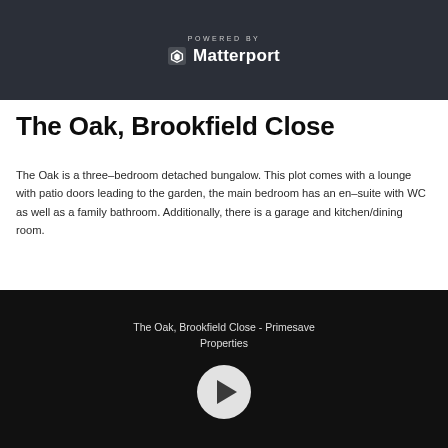[Figure (screenshot): Dark kitchen interior with 'POWERED BY Matterport' logo overlay in white text]
The Oak, Brookfield Close
The Oak is a three–bedroom detached bungalow. This plot comes with a lounge with patio doors leading to the garden, the main bedroom has an en–suite with WC as well as a family bathroom. Additionally, there is a garage and kitchen/dining room.
[Figure (screenshot): Video player with dark background showing title 'The Oak, Brookfield Close - Primesave Properties' and a play button]